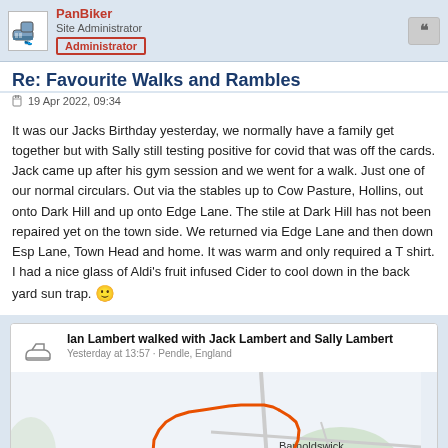PanBiker | Site Administrator | Administrator
Re: Favourite Walks and Rambles
19 Apr 2022, 09:34
It was our Jacks Birthday yesterday, we normally have a family get together but with Sally still testing positive for covid that was off the cards. Jack came up after his gym session and we went for a walk. Just one of our normal circulars. Out via the stables up to Cow Pasture, Hollins, out onto Dark Hill and up onto Edge Lane. The stile at Dark Hill has not been repaired yet on the town side. We returned via Edge Lane and then down Esp Lane, Town Head and home. It was warm and only required a T shirt. I had a nice glass of Aldi's fruit infused Cider to cool down in the back yard sun trap. 🙂
[Figure (screenshot): Embedded social/activity card showing 'Ian Lambert walked with Jack Lambert and Sally Lambert', dated 'Yesterday at 13:57 · Pendle, England', with a map showing a walking route traced in orange on a light map background showing Barnoldswick area.]